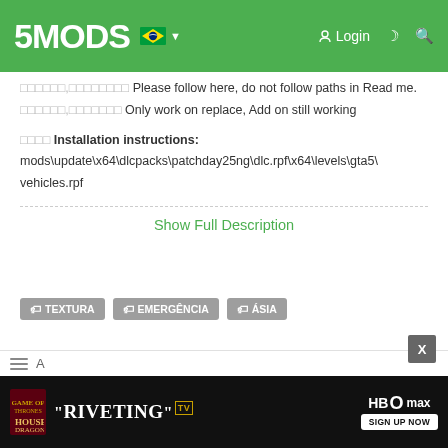5MODS | Login
□□□□□□,□□□□□□□□ Please follow here, do not follow paths in Read me.
□□□□□□,□□□□□□□ Only work on replace, Add on still working
□□□□ Installation instructions:
mods\update\x64\dlcpacks\patchday25ng\dlc.rpf\x64\levels\gta5\vehicles.rpf
Show Full Description
TEXTURA
EMERGÊNCIA
ÁSIA
Primeiro envio: 24 de Abril de 2020
Último envio: 24 de Maio de 2020
Último download: há 1 dia atrás
[Figure (screenshot): Advertisement banner for HBO Max featuring House of the Dragon - 'Riveting' TV quote]